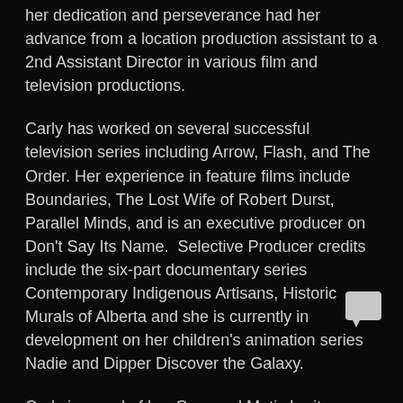her dedication and perseverance had her advance from a location production assistant to a 2nd Assistant Director in various film and television productions.
Carly has worked on several successful television series including Arrow, Flash, and The Order. Her experience in feature films include Boundaries, The Lost Wife of Robert Durst, Parallel Minds, and is an executive producer on Don't Say Its Name. Selective Producer credits include the six-part documentary series Contemporary Indigenous Artisans, Historic Murals of Alberta and she is currently in development on her children's animation series Nadie and Dipper Discover the Galaxy.
[Figure (other): Chat/comment icon - white speech bubble with tail on dark background]
Carly is proud of her Cree and Metis heritage and is committed to bringing diverse and Indigenous...